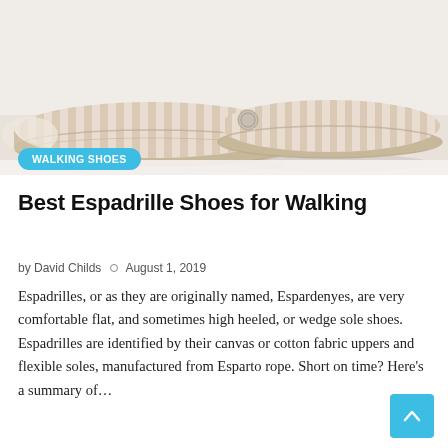[Figure (photo): Beige and white striped espadrille shoes with rope/jute soles photographed on a white background, viewed from above at an angle]
WALKING SHOES
Best Espadrille Shoes for Walking
by David Childs ○ August 1, 2019
Espadrilles, or as they are originally named, Espardenyes, are very comfortable flat, and sometimes high heeled, or wedge sole shoes. Espadrilles are identified by their canvas or cotton fabric uppers and flexible soles, manufactured from Esparto rope. Short on time? Here's a summary of…